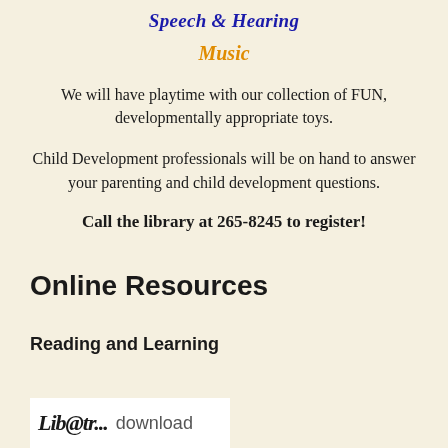Speech & Hearing
Music
We will have playtime with our collection of FUN, developmentally appropriate toys.
Child Development professionals will be on hand to answer your parenting and child development questions.
Call the library at 265-8245 to register!
Online Resources
Reading and Learning
[Figure (logo): Library download logo with 'Lib...' text and 'download' text]